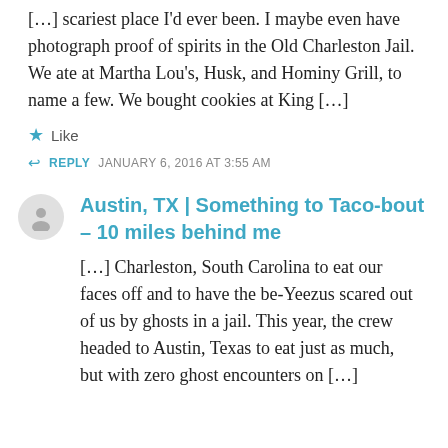[…] scariest place I'd ever been. I maybe even have photograph proof of spirits in the Old Charleston Jail. We ate at Martha Lou's, Husk, and Hominy Grill, to name a few. We bought cookies at King […]
★ Like
↩ REPLY   JANUARY 6, 2016 AT 3:55 AM
Austin, TX | Something to Taco-bout – 10 miles behind me
[…] Charleston, South Carolina to eat our faces off and to have the be-Yeezus scared out of us by ghosts in a jail. This year, the crew headed to Austin, Texas to eat just as much, but with zero ghost encounters on […]